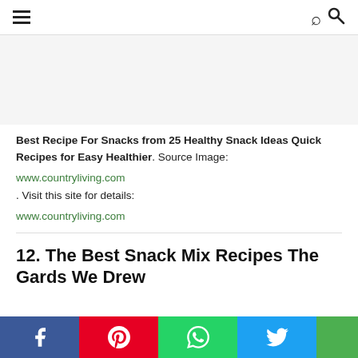Navigation menu and search icon
[Figure (other): White/empty image placeholder area]
Best Recipe For Snacks from 25 Healthy Snack Ideas Quick Recipes for Easy Healthier. Source Image: www.countryliving.com. Visit this site for details: www.countryliving.com
12. The Best Snack Mix Recipes The Gards We Drew